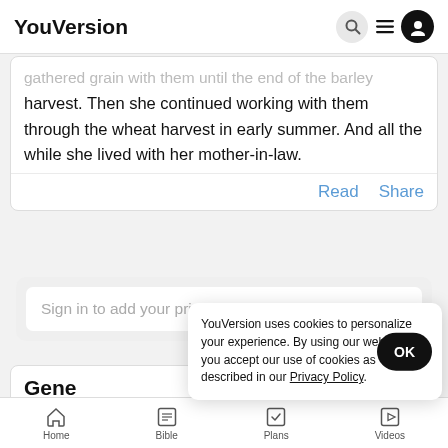YouVersion
gathered grain with them until the end of the barley harvest. Then she continued working with them through the wheat harvest in early summer. And all the while she lived with her mother-in-law.
Read  Share
Sign in to add your private notes...
Gene
18 And of God most High, brought Abram some bread and
YouVersion uses cookies to personalize your experience. By using our website, you accept our use of cookies as described in our Privacy Policy.
Home  Bible  Plans  Videos